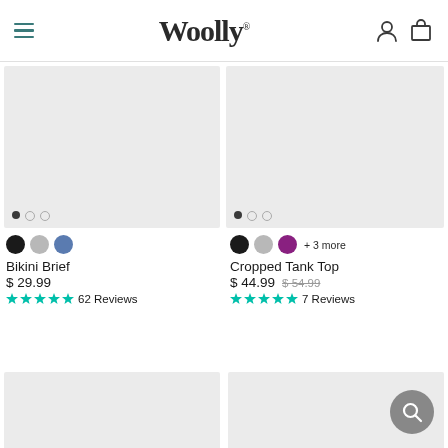Woolly — navigation header with hamburger menu, brand logo, user icon, and cart icon
[Figure (photo): Product image placeholder for Bikini Brief — light gray rectangle with pagination dots]
Bikini Brief
$ 29.99
62 Reviews
[Figure (photo): Product image placeholder for Cropped Tank Top — light gray rectangle with pagination dots]
Cropped Tank Top
$ 44.99  $ 54.99
7 Reviews
[Figure (photo): Product image placeholder bottom left — light gray rectangle]
[Figure (photo): Product image placeholder bottom right — light gray rectangle]